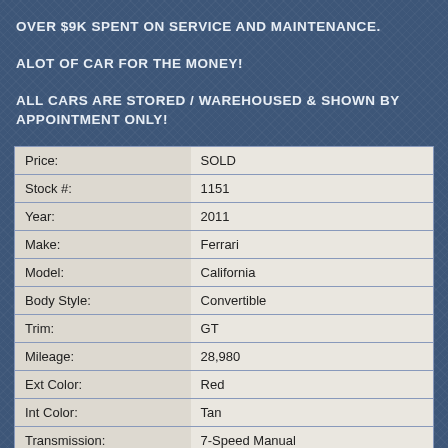OVER $9K SPENT ON SERVICE AND MAINTENANCE.
ALOT OF CAR FOR THE MONEY!
ALL CARS ARE STORED / WAREHOUSED & SHOWN BY APPOINTMENT ONLY!
| Field | Value |
| --- | --- |
| Price: | SOLD |
| Stock #: | 1151 |
| Year: | 2011 |
| Make: | Ferrari |
| Model: | California |
| Body Style: | Convertible |
| Trim: | GT |
| Mileage: | 28,980 |
| Ext Color: | Red |
| Int Color: | Tan |
| Transmission: | 7-Speed Manual |